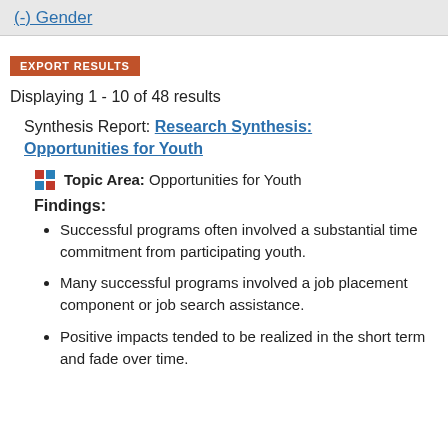(-) Gender
EXPORT RESULTS
Displaying 1 - 10 of 48 results
Synthesis Report: Research Synthesis: Opportunities for Youth
Topic Area: Opportunities for Youth
Findings:
Successful programs often involved a substantial time commitment from participating youth.
Many successful programs involved a job placement component or job search assistance.
Positive impacts tended to be realized in the short term and fade over time.